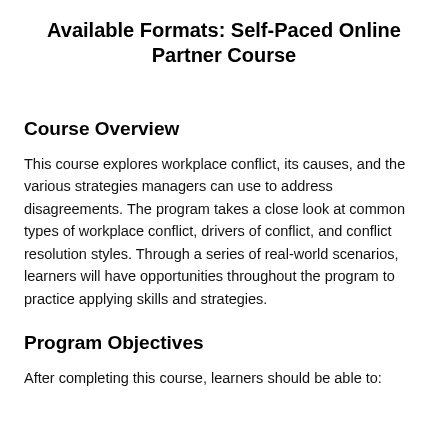Available Formats: Self-Paced Online Partner Course
Course Overview
This course explores workplace conflict, its causes, and the various strategies managers can use to address disagreements. The program takes a close look at common types of workplace conflict, drivers of conflict, and conflict resolution styles. Through a series of real-world scenarios, learners will have opportunities throughout the program to practice applying skills and strategies.
Program Objectives
After completing this course, learners should be able to: